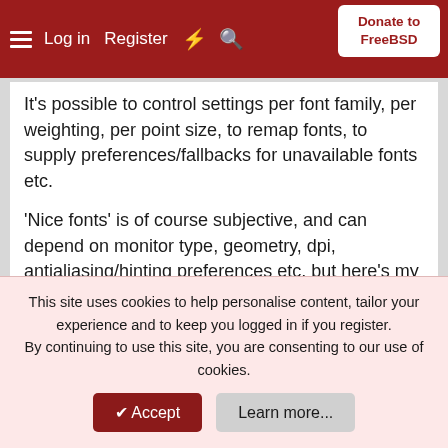Log in  Register  Donate to FreeBSD
It's possible to control settings per font family, per weighting, per point size, to remap fonts, to supply preferences/fallbacks for unavailable fonts etc.
'Nice fonts' is of course subjective, and can depend on monitor type, geometry, dpi, antialiasing/hinting preferences etc, but here's my ~/.fonts.conf to use as a starting point. Copy it to your home directory, rebuild freetype2 if you need to, install the relevant fonts, run fc-cache, reboot/restart X and tweak from there...
XML:
This site uses cookies to help personalise content, tailor your experience and to keep you logged in if you register.
By continuing to use this site, you are consenting to our use of cookies.